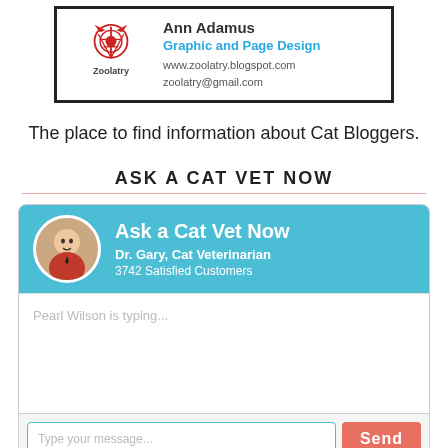[Figure (logo): Zoolatry business card with logo (red tower/cat design), Ann Adamus name, Graphic and Page Design title, website and email]
The place to find information about Cat Bloggers.
ASK A CAT VET NOW
[Figure (screenshot): Ask a Cat Vet Now widget with Dr. Gary Cat Veterinarian avatar, 3742 Satisfied Customers, chat area with Pearl Wilson is typing..., and message input with Send button]